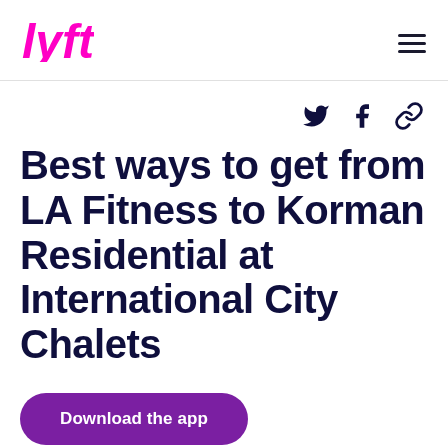Lyft logo and navigation menu
[Figure (logo): Lyft logo in magenta/pink color]
Social share icons: Twitter, Facebook, Link
Best ways to get from LA Fitness to Korman Residential at International City Chalets
Download the app